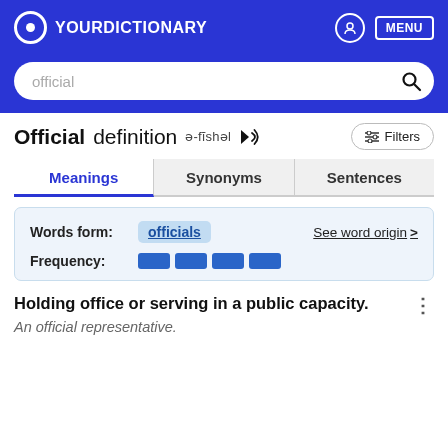YOURDICTIONARY
official
Official definition ə-fĭshəl
Meanings | Synonyms | Sentences
Words form: officials   See word origin >
Frequency: (4 bars)
Holding office or serving in a public capacity.
An official representative.